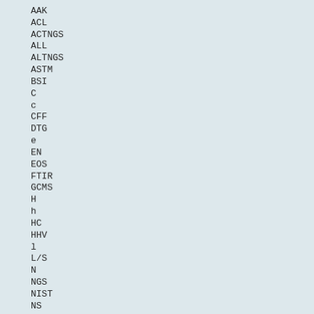AAK
ACL
ACTNGS
ALL
ALTNGS
ASTM
BSI
C
c
CFF
DTG
e
EN
EOS
FTIR
GCMS
H
h
HC
HHV
l
L/S
N
NGS
NIST
NS
O
RNGS
Ro
rpm
S
TGA